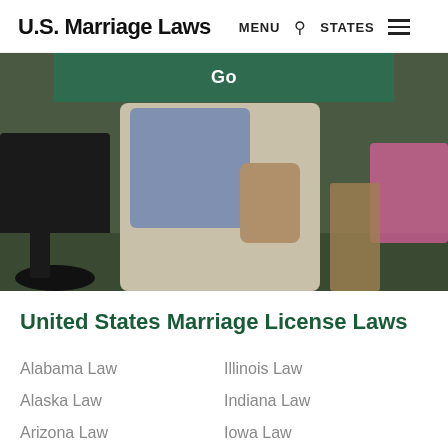U.S. Marriage Laws  MENU  🔍  STATES  ☰
[Figure (photo): Hero image showing a couple at an outdoor wedding, with a green 'Go' button overlay at the top center]
United States Marriage License Laws
Alabama Law
Illinois Law
Alaska Law
Indiana Law
Arizona Law
Iowa Law